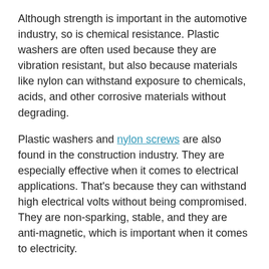Although strength is important in the automotive industry, so is chemical resistance. Plastic washers are often used because they are vibration resistant, but also because materials like nylon can withstand exposure to chemicals, acids, and other corrosive materials without degrading.
Plastic washers and nylon screws are also found in the construction industry. They are especially effective when it comes to electrical applications. That's because they can withstand high electrical volts without being compromised. They are non-sparking, stable, and they are anti-magnetic, which is important when it comes to electricity.
Plastic washers can also be found in the construction of compressors, in material handling, and petrochemical projects.
Choosing plastic washers for your next